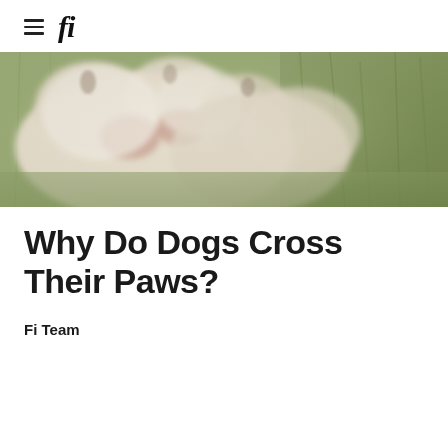fi
[Figure (photo): Close-up photo of a dog's crossed paws resting on grass. The paws are white and fluffy, slightly blurred in the foreground, with green grass visible in the background.]
Why Do Dogs Cross Their Paws?
Fi Team